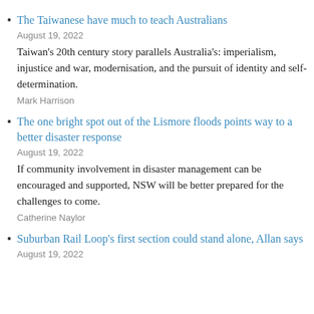The Taiwanese have much to teach Australians
August 19, 2022
Taiwan's 20th century story parallels Australia's: imperialism, injustice and war, modernisation, and the pursuit of identity and self-determination.
Mark Harrison
The one bright spot out of the Lismore floods points way to a better disaster response
August 19, 2022
If community involvement in disaster management can be encouraged and supported, NSW will be better prepared for the challenges to come.
Catherine Naylor
Suburban Rail Loop's first section could stand alone, Allan says
August 19, 2022